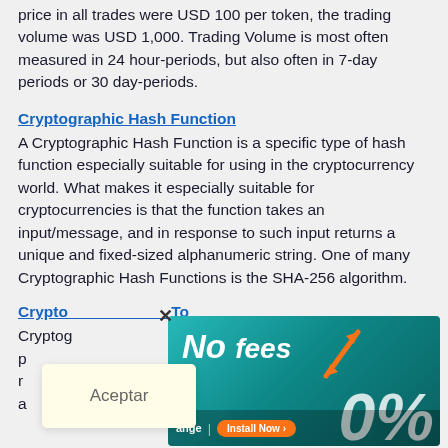price in all trades were USD 100 per token, the trading volume was USD 1,000. Trading Volume is most often measured in 24 hour-periods, but also often in 7-day periods or 30 day-periods.
Cryptographic Hash Function
A Cryptographic Hash Function is a specific type of hash function especially suitable for using in the cryptocurrency world. What makes it especially suitable for cryptocurrencies is that the function takes an input/message, and in response to such input returns a unique and fixed-sized alphanumeric string. One of many Cryptographic Hash Functions is the SHA-256 algorithm.
Cryptographic Token
Cryptographic... p... have r... ange ... here a ... s of tokens in the market.
[Figure (infographic): Advertisement banner with teal gradient background showing 'No fees' text, 0% in large white letters, orange arrows, and an Install Now button. Overlaid with a close (X) button and a yellow 'Aceptar' popup.]